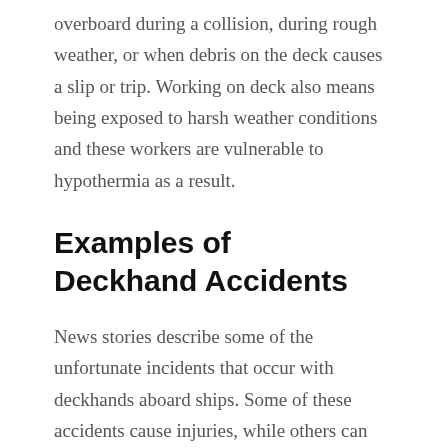overboard during a collision, during rough weather, or when debris on the deck causes a slip or trip. Working on deck also means being exposed to harsh weather conditions and these workers are vulnerable to hypothermia as a result.
Examples of Deckhand Accidents
News stories describe some of the unfortunate incidents that occur with deckhands aboard ships. Some of these accidents cause injuries, while others can